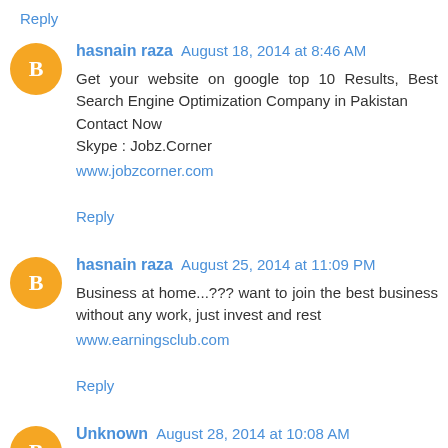Reply (top link, truncated)
hasnain raza August 18, 2014 at 8:46 AM
Get your website on google top 10 Results, Best Search Engine Optimization Company in Pakistan
Contact Now
Skype : Jobz.Corner
www.jobzcorner.com
Reply
hasnain raza August 25, 2014 at 11:09 PM
Business at home...??? want to join the best business without any work, just invest and rest
www.earningsclub.com
Reply
Unknown August 28, 2014 at 10:08 AM
Online Business with hourly profit. Just Invest and Rest